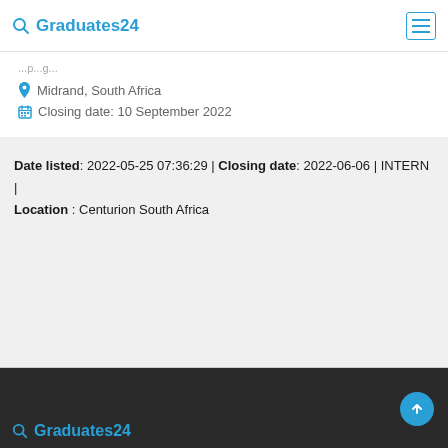Graduates24
Midrand, South Africa
Closing date: 10 September 2022
Date listed: 2022-05-25 07:36:29 | Closing date: 2022-06-06 | INTERN | Location : Centurion South Africa
Graduates24